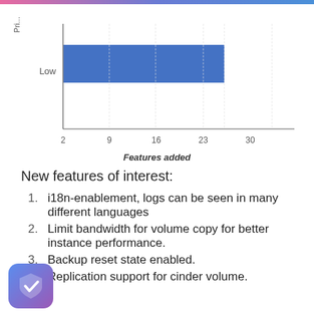[Figure (bar-chart): ]
New features of interest:
i18n-enablement, logs can be seen in many different languages
Limit bandwidth for volume copy for better instance performance.
Backup reset state enabled.
Replication support for cinder volume.